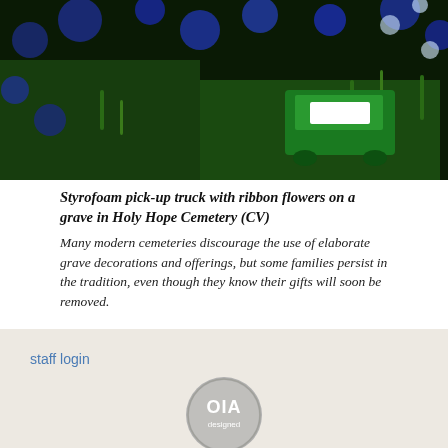[Figure (photo): A Styrofoam pick-up truck with ribbon flowers placed on a grave in Holy Hope Cemetery, surrounded by blue and green plants and flowers.]
Styrofoam pick-up truck with ribbon flowers on a grave in Holy Hope Cemetery (CV)
Many modern cemeteries discourage the use of elaborate grave decorations and offerings, but some families persist in the tradition, even though they know their gifts will soon be removed.
staff login
[Figure (logo): OIA designed logo — circular gray badge with OIA text]
© 2022 The Arizona Board of Regents on behalf of The University of Arizona.
University Privacy Statement